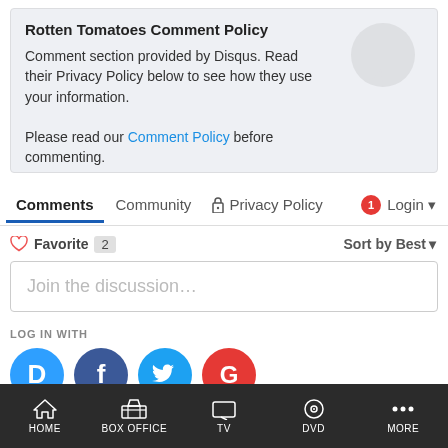Rotten Tomatoes Comment Policy
Comment section provided by Disqus. Read their Privacy Policy below to see how they use your information.
Please read our Comment Policy before commenting.
Comments  Community  🔒 Privacy Policy  🔴1  Login ▾
♡ Favorite  2    Sort by Best ▾
Join the discussion…
LOG IN WITH
[Figure (infographic): Social login icons: Disqus (blue D), Facebook (dark blue F), Twitter (light blue bird), Google (red G)]
OR SIGN UP WITH DISQUS  ?
HOME  BOX OFFICE  TV  DVD  MORE